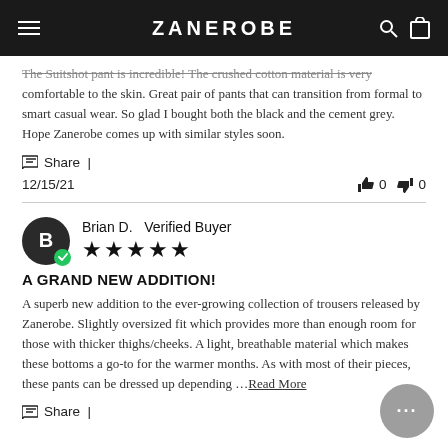ZANEROBE
The Suitshot pant is incredible! The crushed cotton material is very comfortable to the skin. Great pair of pants that can transition from formal to smart casual wear. So glad I bought both the black and the cement grey. Hope Zanerobe comes up with similar styles soon.
Share |
12/15/21  👍 0  👎 0
Brian D.  Verified Buyer  ★★★★★
A GRAND NEW ADDITION!
A superb new addition to the ever-growing collection of trousers released by Zanerobe. Slightly oversized fit which provides more than enough room for those with thicker thighs/cheeks. A light, breathable material which makes these bottoms a go-to for the warmer months. As with most of their pieces, these pants can be dressed up depending ...Read More
Share |